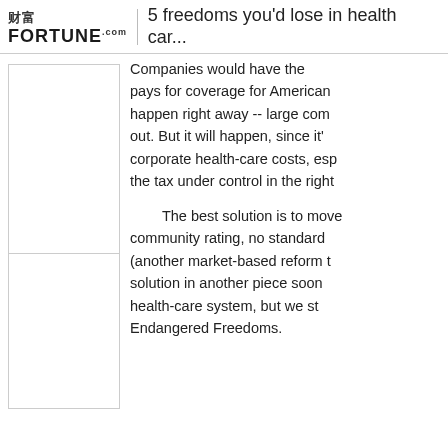5 freedoms you'd lose in health car...
[Figure (other): Two placeholder image boxes stacked vertically in the left sidebar]
Companies would have the pays for coverage for American happen right away -- large com out. But it will happen, since it' corporate health-care costs, esp the tax under control in the right
The best solution is to move community rating, no standard (another market-based reform t solution in another piece soon health-care system, but we st Endangered Freedoms.